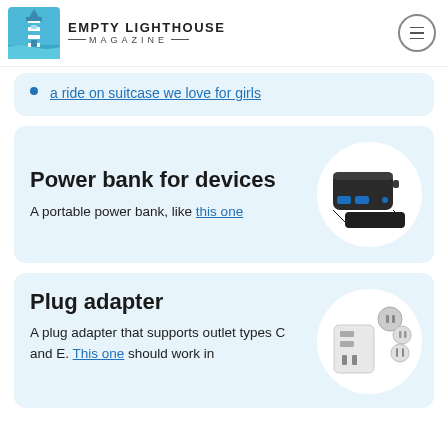Empty Lighthouse Magazine
a ride on suitcase we love for girls
Power bank for devices
A portable power bank, like this one
[Figure (photo): Black portable power bank with USB ports]
Plug adapter
A plug adapter that supports outlet types C and E. This one should work in
[Figure (photo): White universal plug adapter with multiple plug heads]